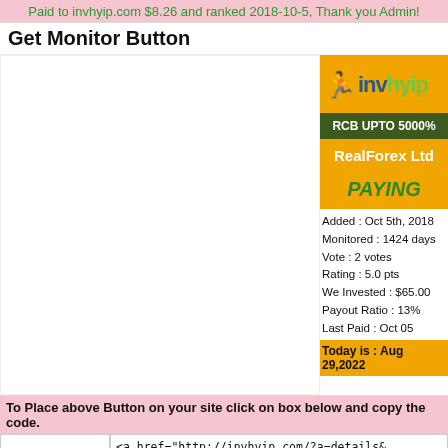Paid to invhyip.com $8.26 and ranked 2018-10-5, Thank you Admin!
Get Monitor Button
[Figure (infographic): invhyip.com monitor badge showing RCB UPTO 5000%, RealForex Ltd, PAYING status, Added Oct 5th 2018, Monitored 1424 days, Vote 2 votes, Rating 5.0 pts, We Invested $65.00, Payout Ratio 13%, Last Paid Oct 05, Today is Aug 29,2022]
To Place above Button on your site click on box below and copy the code.
<a href="http://invhyip.com/?a=details&
src="http://invhyip.com/?a=image&lid=14
alt="Monitored by invhyip.com"></a>